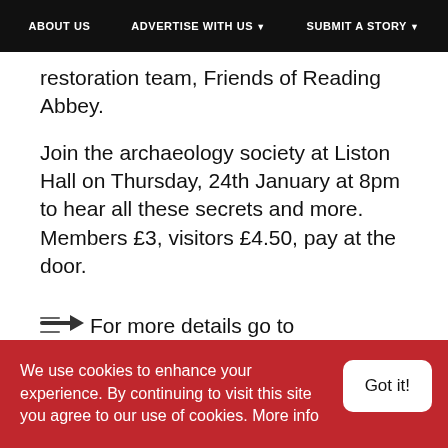ABOUT US | ADVERTISE WITH US ▼ | SUBMIT A STORY ▼
restoration team, Friends of Reading Abbey.
Join the archaeology society at Liston Hall on Thursday, 24th January at 8pm to hear all these secrets and more. Members £3, visitors £4.50, pay at the door.
For more details go to www.marlowarchaeology.org
We use cookies to enhance your experience. By continuing to visit this site you agree to our use of cookies. More info | Got it!